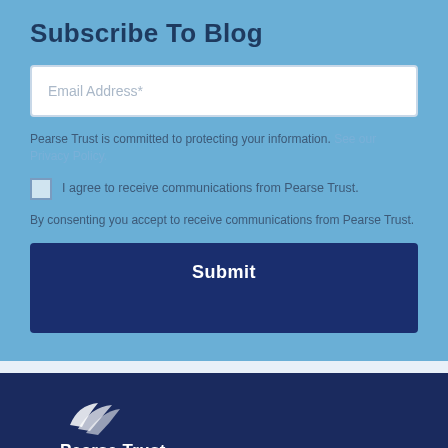Subscribe To Blog
Email Address*
Pearse Trust is committed to protecting your information. See our Privacy Policy.
I agree to receive communications from Pearse Trust.
By consenting you accept to receive communications from Pearse Trust.
Submit
[Figure (logo): Pearse Trust logo with stylized feather/leaf icon in white, brand name 'Pearse Trust' and 'whitepaper' badge]
THE CANADIAN LIMITED PARTNERSHIP